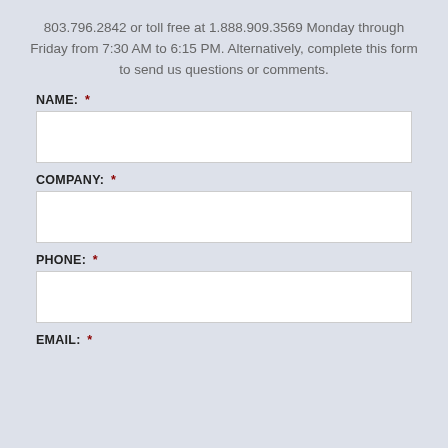803.796.2842 or toll free at 1.888.909.3569 Monday through Friday from 7:30 AM to 6:15 PM. Alternatively, complete this form to send us questions or comments.
NAME:  *
COMPANY:  *
PHONE:  *
EMAIL:  *